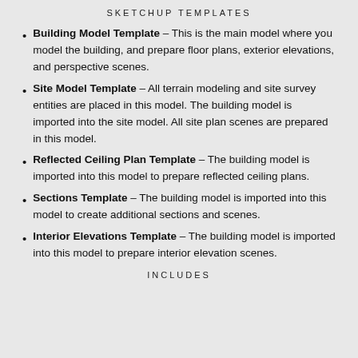SKETCHUP TEMPLATES
Building Model Template – This is the main model where you model the building, and prepare floor plans, exterior elevations, and perspective scenes.
Site Model Template – All terrain modeling and site survey entities are placed in this model. The building model is imported into the site model. All site plan scenes are prepared in this model.
Reflected Ceiling Plan Template – The building model is imported into this model to prepare reflected ceiling plans.
Sections Template – The building model is imported into this model to create additional sections and scenes.
Interior Elevations Template – The building model is imported into this model to prepare interior elevation scenes.
INCLUDES